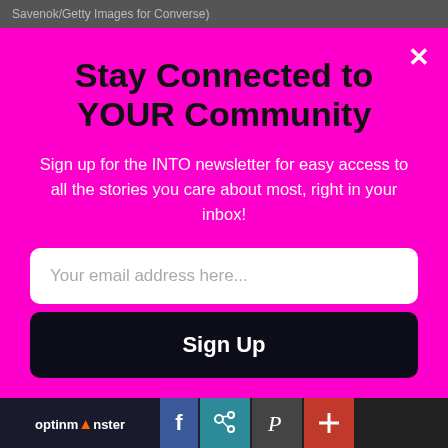Savenok/Getty Images for Converse)
Stay Connected to YOUR Community
Sign up for the INTO newsletter for easy access to all the stories you care about most, right in your inbox!
Your email address here...
Sign Up
Unsubscribe at any time.
optinmonster